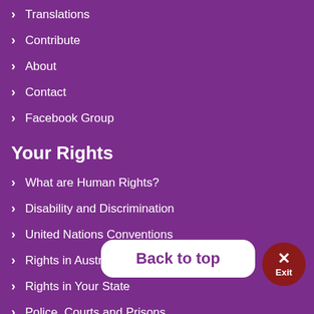Translations
Contribute
About
Contact
Facebook Group
Your Rights
What are Human Rights?
Disability and Discrimination
United Nations Conventions
Rights in Australia
Rights in Your State
Police, Courts and Prisons
Back to top
Exit